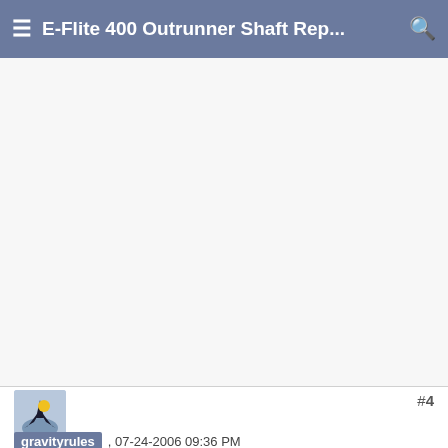E-Flite 400 Outrunner Shaft Rep...
[Figure (other): Advertisement or blank area (white/light gray space)]
#4
[Figure (photo): User avatar for gravityrules showing a model airplane illustration]
gravityrules , 07-24-2006 09:36 PM
gravity rules
Thanks! That is exactly what I hoped. I really didn't want to be heating the cases, using special tools, buying green loctite, etc. Now I know I can be spending most of my time